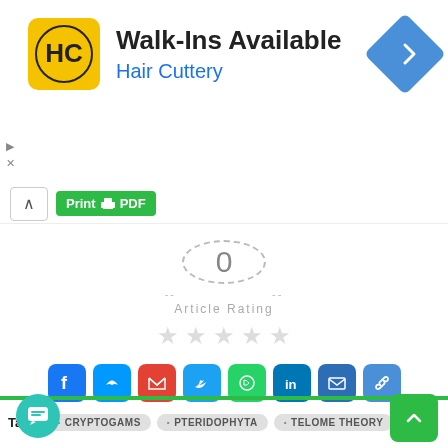[Figure (screenshot): Advertisement banner for Hair Cuttery with logo, 'Walk-Ins Available' title, 'Hair Cuttery' subtitle in blue, and navigation icon]
Walk-Ins Available
Hair Cuttery
[Figure (screenshot): Print and PDF button toolbar with chevron up icon]
[Figure (other): Article Rating circle showing 0 with dashed border, 'Article Rating' label and 5 empty stars]
[Figure (other): Social sharing icons row: Facebook, Messenger, Gmail, Twitter, WhatsApp, LinkedIn, Email, Link]
Tags  • CRYPTOGAMS  • PTERIDOPHYTA  • TELOME THEORY
[Figure (other): Chat button (teal circle) and scroll-to-top button (green rounded square)]